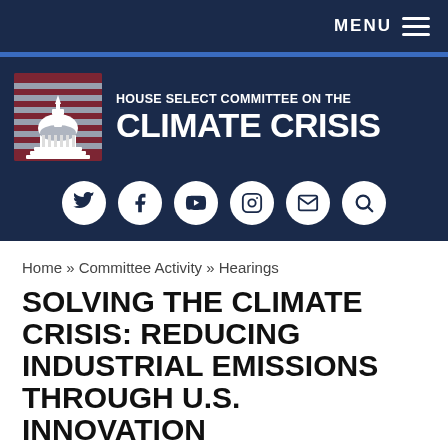MENU
[Figure (logo): House Select Committee on the Climate Crisis logo with US Capitol building illustration on red-white-blue striped background]
HOUSE SELECT COMMITTEE ON THE CLIMATE CRISIS
[Figure (infographic): Social media icons row: Twitter, Facebook, YouTube, Instagram, Email, Search]
Home » Committee Activity » Hearings
SOLVING THE CLIMATE CRISIS: REDUCING INDUSTRIAL EMISSIONS THROUGH U.S. INNOVATION
Date: Thursday, September 26, 2019 - 2:00pm